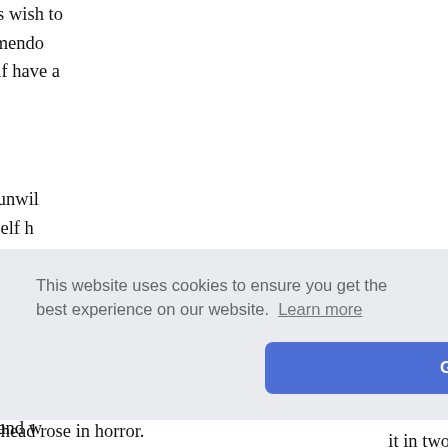his dominions, and the emperor's wish to uttered his belief, that if that tremendous rights, and his visitor and himself have a
Gan heaved a sigh, as if he was unwil said; but, unable to contain himself h wickedness, and exclaimed, "Every wo Uliviero, who struck me that foul blow have planned every thing—I have set Orlando could not be expected to be bro a crown; but he will come to the Sp receiving the tribute. Charles will awa Orlando will bring but a small band w
You surr
ttered th the face it in two the carob zariot hu
hair of the head rose in horror.
This website uses cookies to ensure you get the best experience on our website. Learn more
Got it!